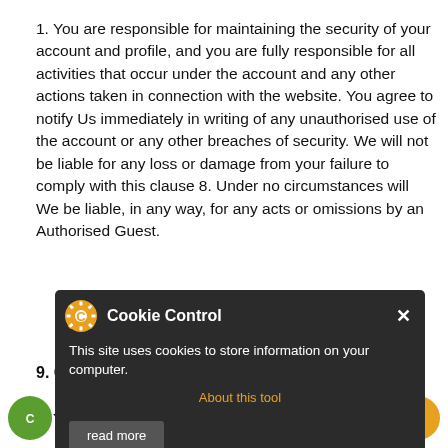1. You are responsible for maintaining the security of your account and profile, and you are fully responsible for all activities that occur under the account and any other actions taken in connection with the website. You agree to notify Us immediately in writing of any unauthorised use of the account or any other breaches of security. We will not be liable for any loss or damage from your failure to comply with this clause 8. Under no circumstances will We be liable, in any way, for any acts or omissions by an Authorised Guest.
[Figure (screenshot): Cookie Control popup overlay with gear/C icon, title 'Cookie Control', close X button, body text 'This site uses cookies to store information on your computer.', 'About this tool' orange link, and 'read more' button.]
9. Content And Conduct Rules And Obligations
a. You understand that all information,